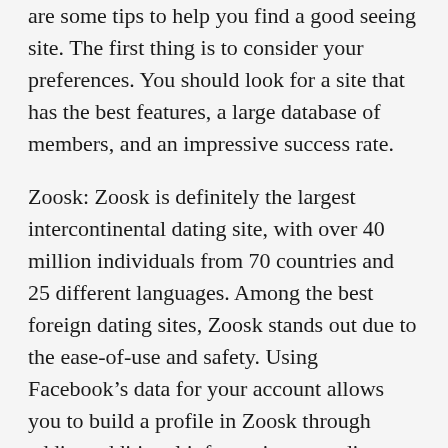are some tips to help you find a good seeing site. The first thing is to consider your preferences. You should look for a site that has the best features, a large database of members, and an impressive success rate.
Zoosk: Zoosk is definitely the largest intercontinental dating site, with over 40 million individuals from 70 countries and 25 different languages. Among the best foreign dating sites, Zoosk stands out due to the ease-of-use and safety. Using Facebook’s data for your account allows you to build a profile in Zoosk through adding additional information regarding yourself. You can even search based upon about ethnicity, figure, and more.
You’ll find several different worldwide dating programs, so pay attention to what matches your preferences. Some sites suggest contacting ladies from all over the world, while others are experts in